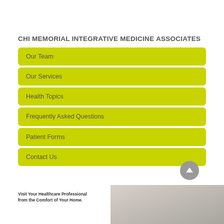CHI MEMORIAL INTEGRATIVE MEDICINE ASSOCIATES
Our Team
Our Services
Health Topics
Frequently Asked Questions
Patient Forms
Contact Us
[Figure (illustration): Scroll-to-top button (gray circle with upward arrow)]
Visit Your Healthcare Professional from the Comfort of Your Home.
[Figure (photo): Woman with hand near face, partial view at bottom right of page]